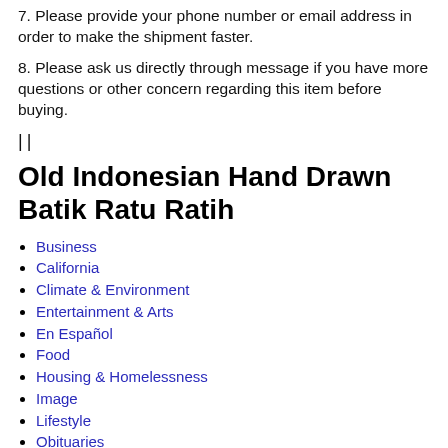7. Please provide your phone number or email address in order to make the shipment faster.
8. Please ask us directly through message if you have more questions or other concern regarding this item before buying.
|||
Old Indonesian Hand Drawn Batik Ratu Ratih
Business
California
Climate & Environment
Entertainment & Arts
En Español
Food
Housing & Homelessness
Image
Lifestyle
Obituaries
Opinion
Politics
Science